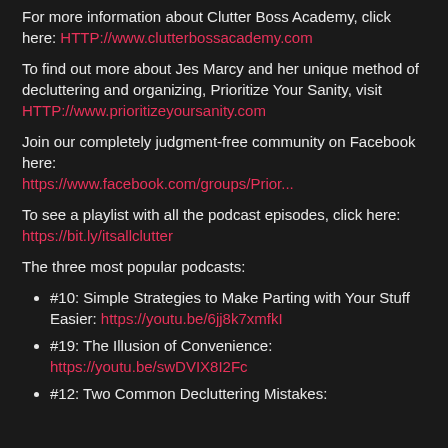For more information about Clutter Boss Academy, click here: HTTP://www.clutterbossacademy.com
To find out more about Jes Marcy and her unique method of decluttering and organizing, Prioritize Your Sanity, visit HTTP://www.prioritizeyoursanity.com
Join our completely judgment-free community on Facebook here: https://www.facebook.com/groups/Prior...
To see a playlist with all the podcast episodes, click here: https://bit.ly/itsallclutter
The three most popular podcasts:
#10: Simple Strategies to Make Parting with Your Stuff Easier: https://youtu.be/6jj8k7xmfkI
#19: The Illusion of Convenience: https://youtu.be/swDVIX8I2Fc
#12: Two Common Decluttering Mistakes: